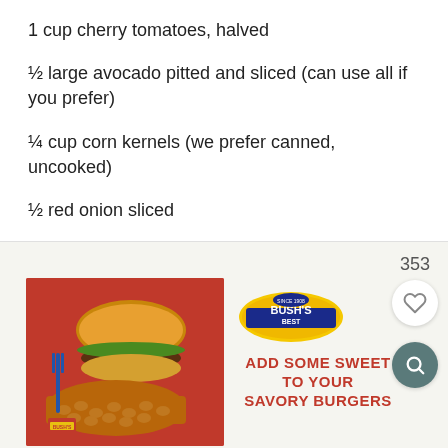1 cup cherry tomatoes, halved
½ large avocado pitted and sliced (can use all if you prefer)
¼ cup corn kernels (we prefer canned, uncooked)
½ red onion sliced
[Figure (screenshot): Advertisement for Bush's Best beans featuring a burger and beans on a red tray, with Bush's Best logo and text 'ADD SOME SWEET TO YOUR SAVORY BURGERS']